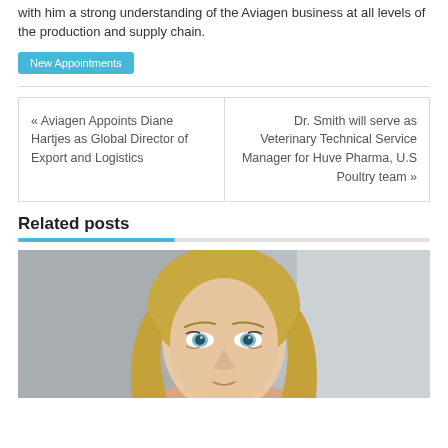with him a strong understanding of the Aviagen business at all levels of the production and supply chain.
New Appointments
« Aviagen Appoints Diane Hartjes as Global Director of Export and Logistics
Dr. Smith will serve as Veterinary Technical Service Manager for Huve Pharma, U.S Poultry team »
Related posts
[Figure (photo): Headshot photo of a blonde woman with blue eyes, cropped to show face and upper head, light background]